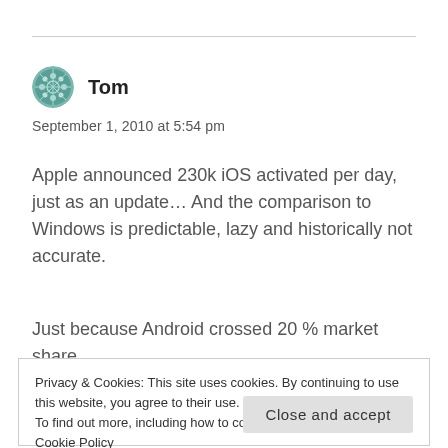Tom
September 1, 2010 at 5:54 pm
Apple announced 230k iOS activated per day, just as an update… And the comparison to Windows is predictable, lazy and historically not accurate.
Just because Android crossed 20 % market share
Privacy & Cookies: This site uses cookies. By continuing to use this website, you agree to their use.
To find out more, including how to control cookies, see here: Cookie Policy
Close and accept
held the other 70 %. Both were openly licenseable